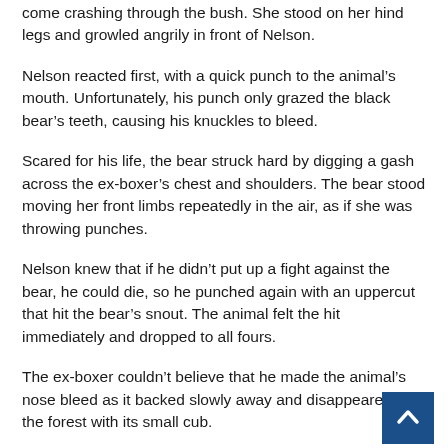come crashing through the bush. She stood on her hind legs and growled angrily in front of Nelson.
Nelson reacted first, with a quick punch to the animal’s mouth. Unfortunately, his punch only grazed the black bear’s teeth, causing his knuckles to bleed.
Scared for his life, the bear struck hard by digging a gash across the ex-boxer’s chest and shoulders. The bear stood moving her front limbs repeatedly in the air, as if she was throwing punches.
Nelson knew that if he didn’t put up a fight against the bear, he could die, so he punched again with an uppercut that hit the bear’s snout. The animal felt the hit immediately and dropped to all fours.
The ex-boxer couldn’t believe that he made the animal’s nose bleed as it backed slowly away and disappeared into the forest with its small cub.
But what’s interesting about the story is Nelson’s past.